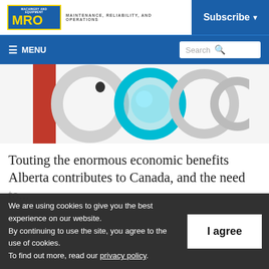MRO — MAINTENANCE, RELIABILITY, AND OPERATIONS | Subscribe
≡ MENU | Search
[Figure (photo): Close-up of industrial bearings/rings with teal, red, and silver colors]
Touting the enormous economic benefits Alberta contributes to Canada, and the need to...
We are using cookies to give you the best experience on our website. By continuing to use the site, you agree to the use of cookies. To find out more, read our privacy policy.